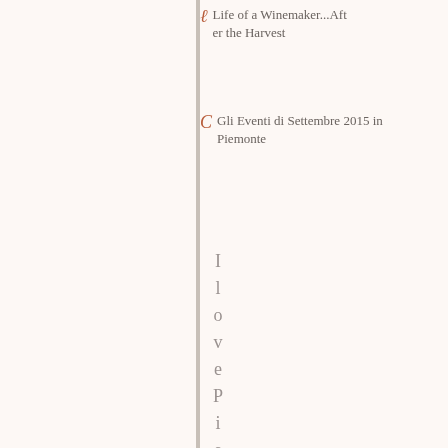Life of a Winemaker...After the Harvest
Gli Eventi di Settembre 2015 in Piemonte
I love Piemonte